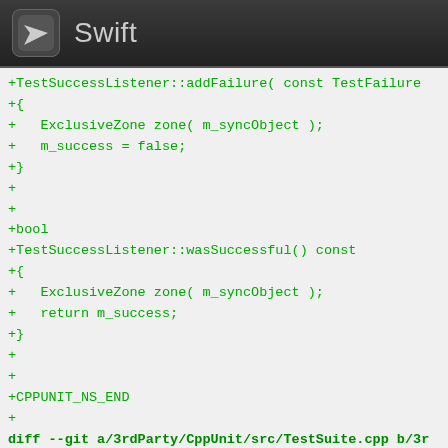Swift
+TestSuccessListener::addFailure( const TestFailure
+{
+   ExclusiveZone zone( m_syncObject );
+   m_success = false;
+}
+
+
+bool
+TestSuccessListener::wasSuccessful() const
+{
+   ExclusiveZone zone( m_syncObject );
+   return m_success;
+}
+
+
+CPPUNIT_NS_END
+
diff --git a/3rdParty/CppUnit/src/TestSuite.cpp b/3r
new file mode 100644